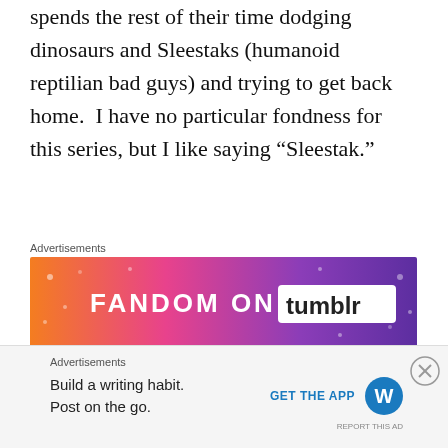spends the rest of their time dodging dinosaurs and Sleestaks (humanoid reptilian bad guys) and trying to get back home.  I have no particular fondness for this series, but I like saying “Sleestak.”
[Figure (infographic): Fandom on Tumblr advertisement banner with orange to purple gradient background and white text reading FANDOM ON tumblr]
Another great expatriate character who is stuck away from his home is Oscar Zoroaster Phadrig Isaac Norman Henkel Emmannuel Ambroise Diggs, known to most as the Wizard of Oz.  As with comics, there are
[Figure (infographic): WordPress mobile app advertisement: Build a writing habit. Post on the go. GET THE APP with WordPress logo]